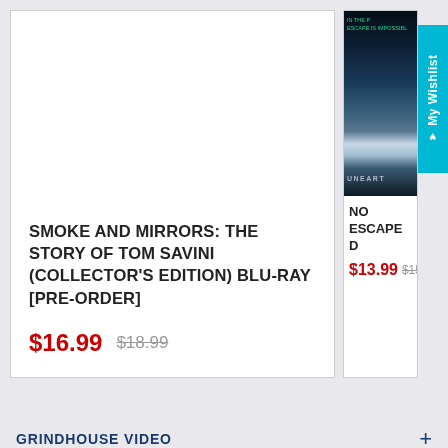SMOKE AND MIRRORS: THE STORY OF TOM SAVINI (COLLECTOR'S EDITION) BLU-RAY [PRE-ORDER]
$16.99  $18.99
[Figure (screenshot): Partial view of a dark movie cover with lightning imagery, text reading UNEART and escape is impossible at the top]
NO ESCAPE D
$13.99  $15.99
My Wishlist
GRINDHOUSE VIDEO +
MENU +